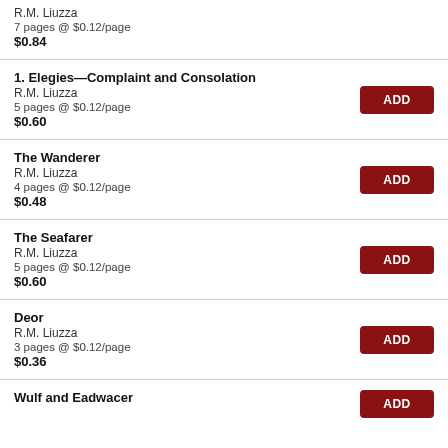R.M. Liuzza
7 pages @ $0.12/page
$0.84
1. Elegies—Complaint and Consolation
R.M. Liuzza
5 pages @ $0.12/page
$0.60
The Wanderer
R.M. Liuzza
4 pages @ $0.12/page
$0.48
The Seafarer
R.M. Liuzza
5 pages @ $0.12/page
$0.60
Deor
R.M. Liuzza
3 pages @ $0.12/page
$0.36
Wulf and Eadwacer